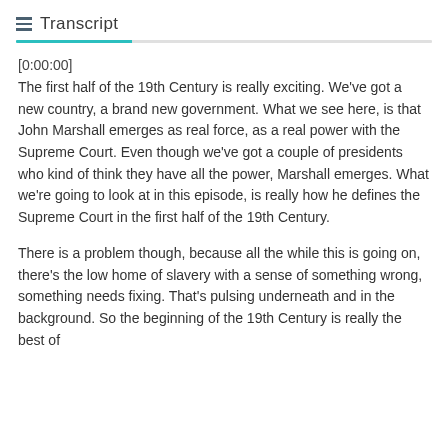Transcript
[0:00:00]
The first half of the 19th Century is really exciting. We've got a new country, a brand new government. What we see here, is that John Marshall emerges as real force, as a real power with the Supreme Court. Even though we've got a couple of presidents who kind of think they have all the power, Marshall emerges. What we're going to look at in this episode, is really how he defines the Supreme Court in the first half of the 19th Century.
There is a problem though, because all the while this is going on, there's the low home of slavery with a sense of something wrong, something needs fixing. That's pulsing underneath and in the background. So the beginning of the 19th Century is really the best of